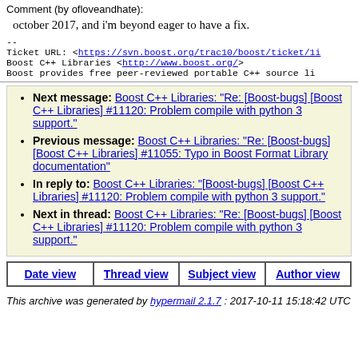Comment (by ofloveandhate):
october 2017, and i'm beyond eager to have a fix.
--
Ticket URL: <https://svn.boost.org/trac10/boost/ticket/11...>
Boost C++ Libraries <http://www.boost.org/>
Boost provides free peer-reviewed portable C++ source li...
Next message: Boost C++ Libraries: "Re: [Boost-bugs] [Boost C++ Libraries] #11120: Problem compile with python 3 support."
Previous message: Boost C++ Libraries: "Re: [Boost-bugs] [Boost C++ Libraries] #11055: Typo in Boost Format Library documentation"
In reply to: Boost C++ Libraries: "[Boost-bugs] [Boost C++ Libraries] #11120: Problem compile with python 3 support."
Next in thread: Boost C++ Libraries: "Re: [Boost-bugs] [Boost C++ Libraries] #11120: Problem compile with python 3 support."
Date view | Thread view | Subject view | Author view
This archive was generated by hypermail 2.1.7 : 2017-10-11 15:18:42 UTC